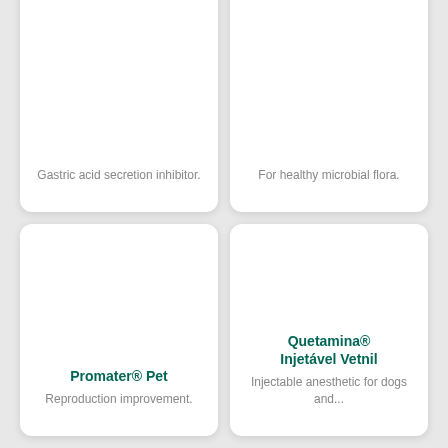Gastric acid secretion inhibitor.
For healthy microbial flora.
Promater® Pet
Reproduction improvement.
Quetamina® Injetável Vetnil
Injectable anesthetic for dogs and...